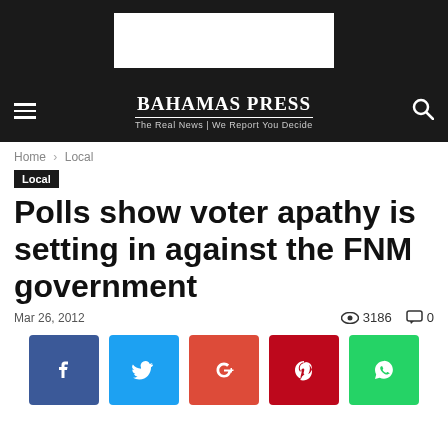[Figure (other): Black top bar with white advertisement rectangle]
Bahamas Press — The Real News | We Report You Decide
Home › Local
Local
Polls show voter apathy is setting in against the FNM government
Mar 26, 2012   👁 3186   💬 0
[Figure (other): Social share buttons: Facebook, Twitter, Google+, Pinterest, WhatsApp]